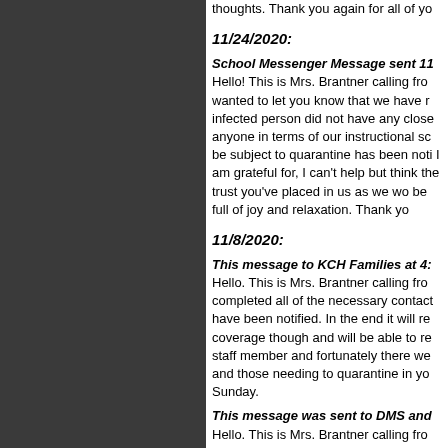thoughts.  Thank you again for all of yo
11/24/2020:
School Messenger Message sent 11 Hello!  This is Mrs. Brantner calling fro wanted to let you know that we have r infected person did not have any close anyone in terms of our instructional sc be subject to quarantine has been noti I am grateful for, I can't help but think the trust you've placed in us as we wo be full of joy and relaxation.  Thank yo
11/8/2020:
This message to KCH Families at 4: Hello. This is Mrs. Brantner calling fro completed all of the necessary contact have been notified. In the end it will re coverage though and will be able to re staff member and fortunately there we and those needing to quarantine in yo Sunday.
This message was sent to DMS and Hello. This is Mrs. Brantner calling fro